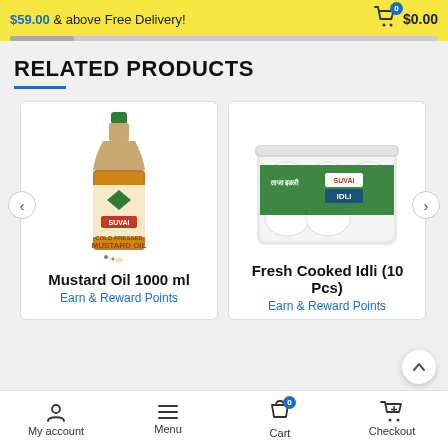$59.00 & above Free Delivery! $0.00
RELATED PRODUCTS
[Figure (photo): Suvai Cold Pressed Mustard Oil 1000ml bottle product photo]
Mustard Oil 1000 ml
Earn & Reward Points
[Figure (photo): Suvai Fresh Cooked Idli in a plastic container with green label product photo]
Fresh Cooked Idli (10 Pcs)
Earn & Reward Points
My account   Menu   Cart   Checkout